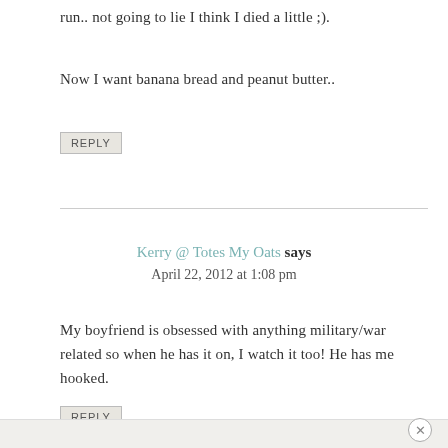run.. not going to lie I think I died a little ;).
Now I want banana bread and peanut butter..
REPLY
Kerry @ Totes My Oats says
April 22, 2012 at 1:08 pm
My boyfriend is obsessed with anything military/war related so when he has it on, I watch it too! He has me hooked.
REPLY